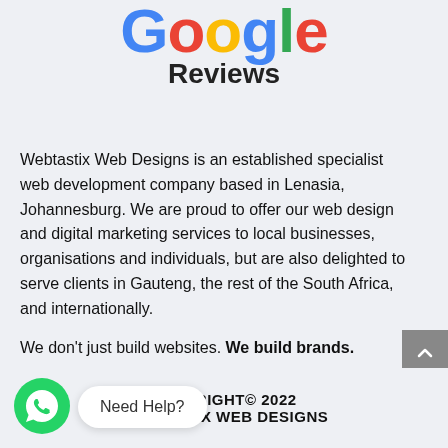[Figure (logo): Google Reviews logo with colorful Google lettering and 'Reviews' subtitle]
Webtastix Web Designs is an established specialist web development company based in Lenasia, Johannesburg. We are proud to offer our web design and digital marketing services to local businesses, organisations and individuals, but are also delighted to serve clients in Gauteng, the rest of the South Africa, and internationally.
We don't just build websites. We build brands.
COPYRIGHT© 2022 WEBTASTIX WEB DESIGNS